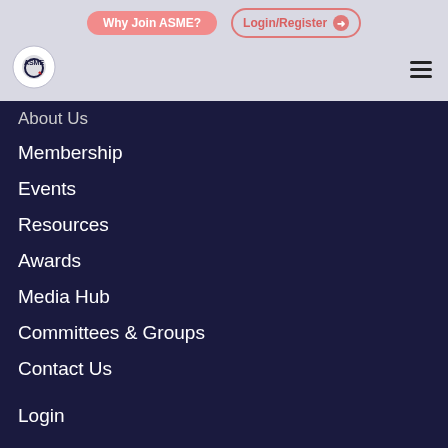Why Join ASME? | Login/Register
[Figure (logo): ASME logo — circular gear icon with ASME text]
About Us
Membership
Events
Resources
Awards
Media Hub
Committees & Groups
Contact Us
Login
Cookie consent
This website uses cookies that help the website to function and also to track how you interact with our website. But for us to provide the best user experience, enable the specific cookies from Settings, and click on Accept.
Preferences | Reject All | Accept All